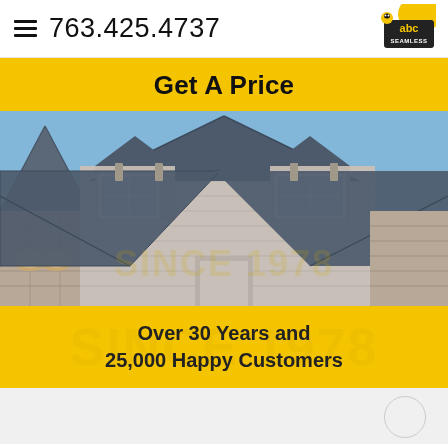☰  763.425.4737
Get A Price
[Figure (photo): Exterior photo of a large house with dark metal/slate roof, grey siding, white-framed windows, and stone accents on lower level, against a blue sky.]
Over 30 Years and 25,000 Happy Customers
NEW HOPE, MN